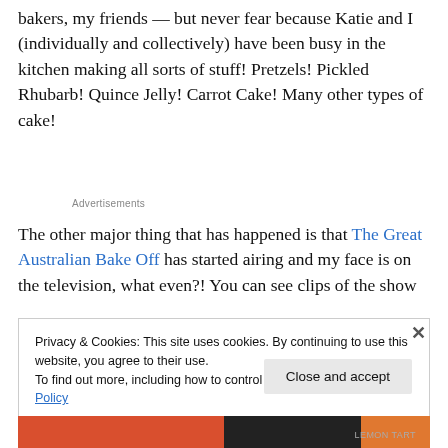bakers, my friends — but never fear because Katie and I (individually and collectively) have been busy in the kitchen making all sorts of stuff! Pretzels! Pickled Rhubarb! Quince Jelly! Carrot Cake! Many other types of cake!
Advertisements
The other major thing that has happened is that The Great Australian Bake Off has started airing and my face is on the television, what even?! You can see clips of the show
Privacy & Cookies: This site uses cookies. By continuing to use this website, you agree to their use.
To find out more, including how to control cookies, see here: Cookie Policy
Close and accept